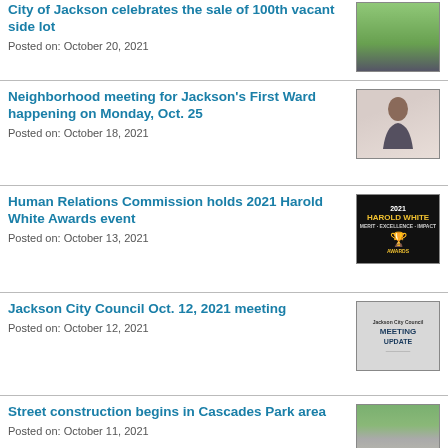City of Jackson celebrates the sale of 100th vacant side lot
Posted on: October 20, 2021
Neighborhood meeting for Jackson's First Ward happening on Monday, Oct. 25
Posted on: October 18, 2021
Human Relations Commission holds 2021 Harold White Awards event
Posted on: October 13, 2021
Jackson City Council Oct. 12, 2021 meeting
Posted on: October 12, 2021
Street construction begins in Cascades Park area
Posted on: October 11, 2021